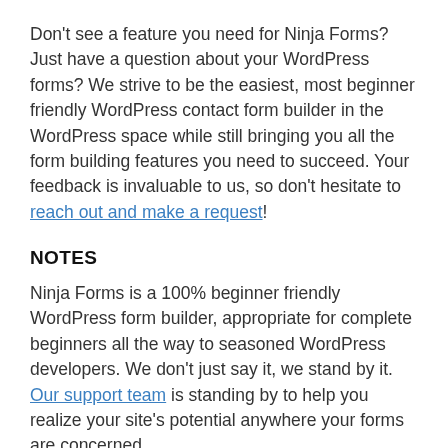Don't see a feature you need for Ninja Forms? Just have a question about your WordPress forms? We strive to be the easiest, most beginner friendly WordPress contact form builder in the WordPress space while still bringing you all the form building features you need to succeed. Your feedback is invaluable to us, so don't hesitate to reach out and make a request!
NOTES
Ninja Forms is a 100% beginner friendly WordPress form builder, appropriate for complete beginners all the way to seasoned WordPress developers. We don't just say it, we stand by it. Our support team is standing by to help you realize your site's potential anywhere your forms are concerned.
Not sure if you can build the forms you need?